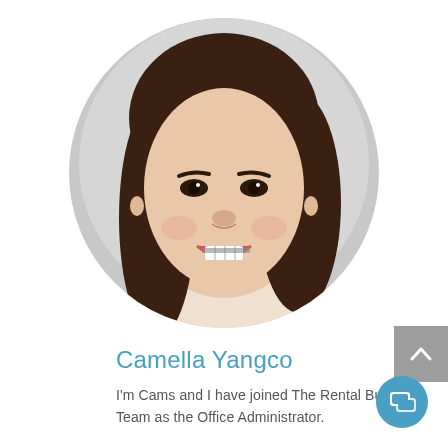[Figure (photo): Circular profile photo of Camella Yangco, a young woman with long brown hair, smiling, wearing braces, set against a light gray background.]
Camella Yangco
I'm Cams and I have joined The Rental Bureau Team as the Office Administrator.